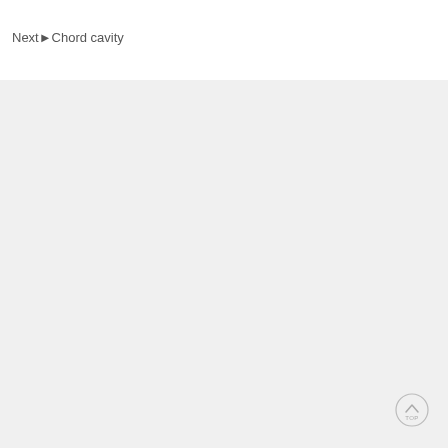Next►Chord cavity
[Figure (other): Back to top button — a circular button with a house/chevron icon and 'TOP' label]